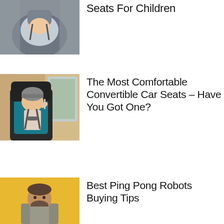[Figure (photo): Close-up of a baby/child in a car seat, grey tones]
Seats For Children
[Figure (photo): A young child wearing a grey beanie hat sitting in a teal/black convertible car seat in a car]
The Most Comfortable Convertible Car Seats – Have You Got One?
[Figure (photo): A man with a beard standing in front of a yellow background, likely in a table tennis/ping pong setting]
Best Ping Pong Robots Buying Tips